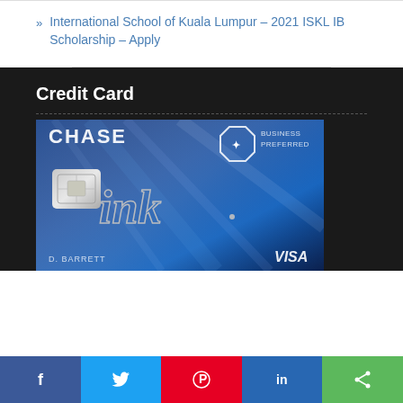International School of Kuala Lumpur – 2021 ISKL IB Scholarship – Apply
Credit Card
[Figure (photo): Chase Ink business credit card (Visa) showing the metallic 'ink' signature logo on a blue brushed-metal background, with a chip visible on the left and partial text 'CHASE', 'BUSINESS PREFERRED', 'D. BARRETT', and 'VISA' on the card.]
[Figure (infographic): Social sharing bar with Facebook, Twitter, Pinterest, LinkedIn, and a generic share button]